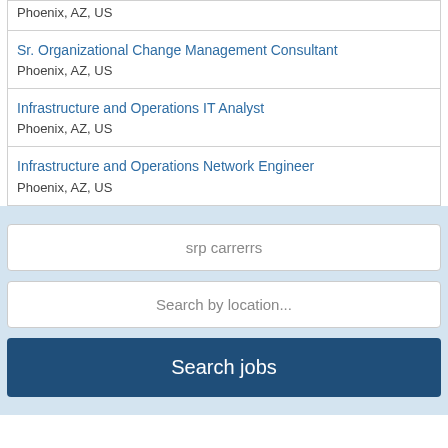Phoenix, AZ, US
Sr. Organizational Change Management Consultant
Phoenix, AZ, US
Infrastructure and Operations IT Analyst
Phoenix, AZ, US
Infrastructure and Operations Network Engineer
Phoenix, AZ, US
srp carrerrs
Search by location...
Search jobs